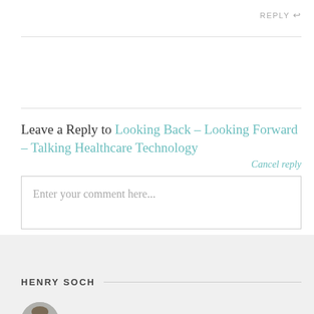REPLY ↩
Leave a Reply to Looking Back – Looking Forward – Talking Healthcare Technology
Cancel reply
Enter your comment here...
HENRY SOCH
[Figure (photo): Avatar/profile photo of Henry Soch, circular crop showing a person's face]